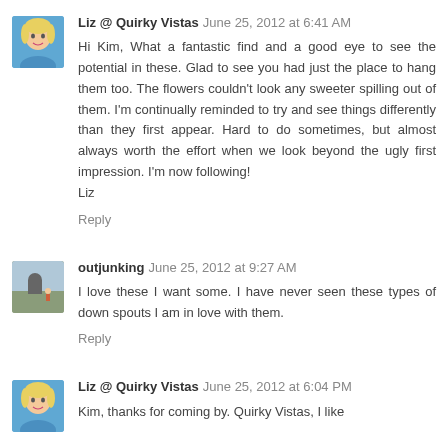[Figure (photo): Avatar photo of Liz, a woman with blonde hair wearing a blue top]
Liz @ Quirky Vistas June 25, 2012 at 6:41 AM
Hi Kim, What a fantastic find and a good eye to see the potential in these. Glad to see you had just the place to hang them too. The flowers couldn't look any sweeter spilling out of them. I'm continually reminded to try and see things differently than they first appear. Hard to do sometimes, but almost always worth the effort when we look beyond the ugly first impression. I'm now following!
Liz
Reply
[Figure (photo): Avatar photo of outjunking, a small outdoor scene]
outjunking June 25, 2012 at 9:27 AM
I love these I want some. I have never seen these types of down spouts I am in love with them.
Reply
[Figure (photo): Avatar photo of Liz, a woman with blonde hair wearing a blue top]
Liz @ Quirky Vistas June 25, 2012 at 6:04 PM
Kim, thanks for coming by. Quirky Vistas, I like